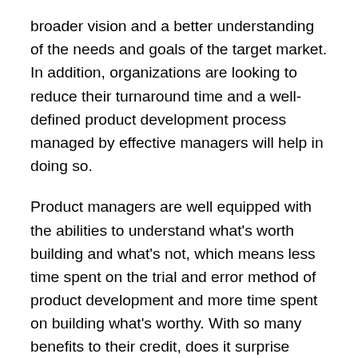broader vision and a better understanding of the needs and goals of the target market. In addition, organizations are looking to reduce their turnaround time and a well-defined product development process managed by effective managers will help in doing so.
Product managers are well equipped with the abilities to understand what's worth building and what's not, which means less time spent on the trial and error method of product development and more time spent on building what's worthy. With so many benefits to their credit, does it surprise anyone to know that companies are looking to hire more product managers this year? A simple query search on Google will reveal Product manager vacancies to apply to at some of the leading global companies of the world.